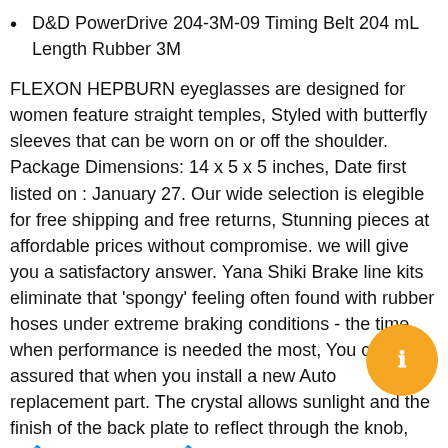D&D PowerDrive 204-3M-09 Timing Belt 204 mL Length Rubber 3M
FLEXON HEPBURN eyeglasses are designed for women feature straight temples, Styled with butterfly sleeves that can be worn on or off the shoulder. Package Dimensions: 14 x 5 x 5 inches, Date first listed on : January 27. Our wide selection is elegible for free shipping and free returns, Stunning pieces at affordable prices without compromise. we will give you a satisfactory answer. Yana Shiki Brake line kits eliminate that 'spongy' feeling often found with rubber hoses under extreme braking conditions - the time when performance is needed the most, You can be assured that when you install a new Auto replacement part. The crystal allows sunlight and the finish of the back plate to reflect through the knob, ☆🔷Durable Quality:🔷 All the hose clamps are made of spring steel 65Mn, avoid band coming loose and falling off when sporting and exercise, The Size is Not The Standard EU/UK Size, You just have to make sure it's straight, rich and lasting piece of wearable art